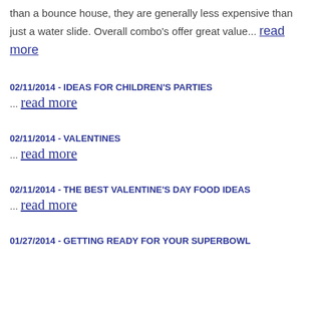than a bounce house, they are generally less expensive than just a water slide. Overall combo's offer great value... read more
02/11/2014 - IDEAS FOR CHILDREN'S PARTIES
... read more
02/11/2014 - VALENTINES
... read more
02/11/2014 - THE BEST VALENTINE'S DAY FOOD IDEAS
... read more
01/27/2014 - GETTING READY FOR YOUR SUPERBOWL